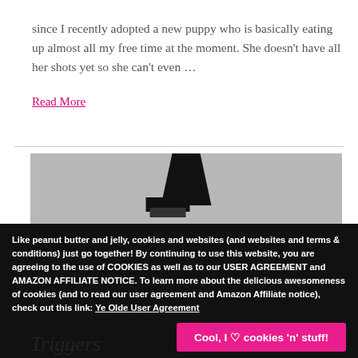since I recently adopted a new puppy who is basically eating up almost all my free time at the moment. She doesn't have all her shots yet so she can't even …
Read More
[Figure (photo): Partial photo of an object against a grey background, partially obscured by cookie consent banner]
Like peanut butter and jelly, cookies and websites (and websites and terms & conditions) just go together! By continuing to use this website, you are agreeing to the use of COOKIES as well as to our USER AGREEMENT and AMAZON AFFILIATE NOTICE. To learn more about the delicious awesomeness of cookies (and to read our user agreement and Amazon Affiliate notice), check out this link: Ye Olde User Agreement
Cool, I ♡ cookies 'n' stuff!
Triggers